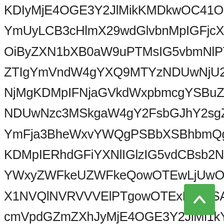KDIyMjE4OGE3Y2JlMikKMDkwOC41ODUgKDMpl YmUyLCB3cHlmX29wdGlvbnMpIGFjcXVpcmVkVkXSBp OiByZXN1bXB0aW9uPTMsIG5vbmNlPTIyMjE4OGE ZTIgYmVndW4gYXQ9MTYzNDUwNjU2MiAoOTA5cy NjMgKDMpIFNjaGVkdWxpbmcgYSBuZXcgaW5zdGFuY NDUwNzc3MSkgaW4gY2FsbGJhY2sgZnJvbSBZXRz YmFja3BheWxvYWQgPSBbXSBhbmQga2V5ID0gZ9 KDMpIERhdGFiYXNlIGlzIG5vdCBsb2NrZWQgYnE YWxyZWFkeUZWFkeQowOTEwLjUwOSAoMykgYmF X1NVQlNVRVVVElPTgowOTExLjl0OSAoMykgYmFj cmVpdGZmZXhJyMjE4OGE3Y2JlMi1kYTi5nejogZGl6IFR IHN1Y2Nlc3NmdWxseSBjb21wbGV0ZWQgd2lsbCBjb Y2t1cCBhbmQgcmVzdG9yZSBiYXNlNjRlbmNvZGVk cXZlbm1jZ2RYQnNiMkZkSUc5bUlISmJZSzBhIGN jNmdXxsZSB1cGdyYWRlIGlzIGNvbXBsZXRlIGFuZCBrZXkgTWk0aMz KDEvMSk6IGRvYzJkZWRzZldRr5aXZllHdpdGdGggaVe Fu KSBCZWdpbiBtcGJtY2daGlzcEdGMY2ggb2YgYmFja3ZhbGlkYXRpb24=
[Figure (other): Green scroll-to-top button with upward chevron arrow]